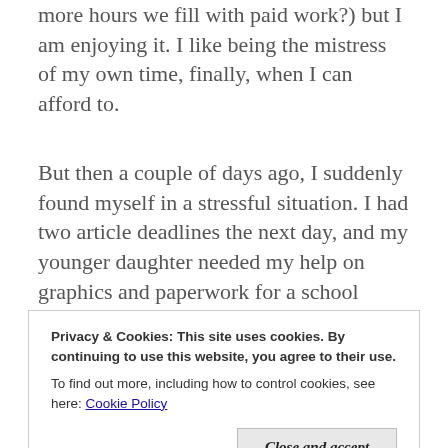more hours we fill with paid work?) but I am enjoying it. I like being the mistress of my own time, finally, when I can afford to.
But then a couple of days ago, I suddenly found myself in a stressful situation. I had two article deadlines the next day, and my younger daughter needed my help on graphics and paperwork for a school project. The other daughter had a birthday party to plan. I suddenly felt as if I was overwhelmed with a task list with everything marked URGENT in big red letters.
Privacy & Cookies: This site uses cookies. By continuing to use this website, you agree to their use.
To find out more, including how to control cookies, see here: Cookie Policy
Close and accept
A few months ago, this sort of situation was a